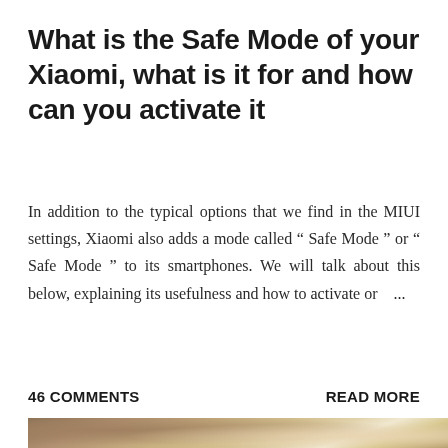What is the Safe Mode of your Xiaomi, what is it for and how can you activate it
In addition to the typical options that we find in the MIUI settings, Xiaomi also adds a mode called " Safe Mode " or " Safe Mode " to its smartphones. We will talk about this below, explaining its usefulness and how to activate or ...
46 COMMENTS
READ MORE
[Figure (photo): Partially visible photo showing a blurred warm-toned background with what appears to be a person or object, cropped at the bottom of the page]